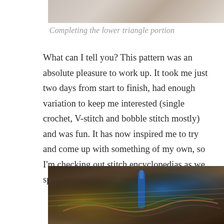[Figure (photo): Partial view of a colorful crochet project, top portion cropped]
Completing the lower triangle portion
What can I tell you? This pattern was an absolute pleasure to work up. It took me just two days from start to finish, had enough variation to keep me interested (single crochet, V-stitch and bobble stitch mostly) and was fun. It has now inspired me to try and come up with something of my own, so I'm checking out stitch encyclopedias as we speak.
[Figure (photo): Close-up photo of crochet work in progress with a blue crochet hook and colorful yarn on a striped surface]